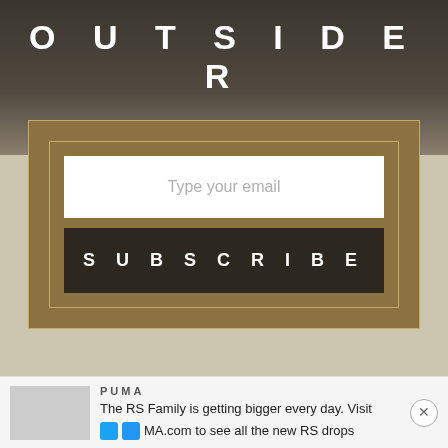OUTSIDER
[Figure (screenshot): Email subscription form with gold background. Contains a white email input field with placeholder 'Type your email' and a dark button labeled 'SUBSCRIBE'.]
SEE ALSO
RELATED READS
PUMA
The RS Family is getting bigger every day. Visit MA.com to see all the new RS drops